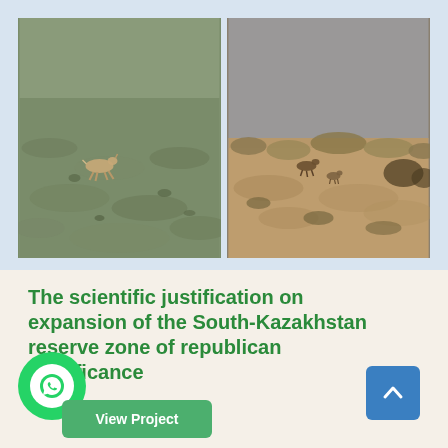[Figure (photo): Two wildlife photographs side by side. Left: a running deer/antelope in a sage-green grassland steppe. Right: deer/antelope in dry golden-brown steppe with overcast grey sky.]
The scientific justification on expansion of the South-Kazakhstan reserve zone of republican significance